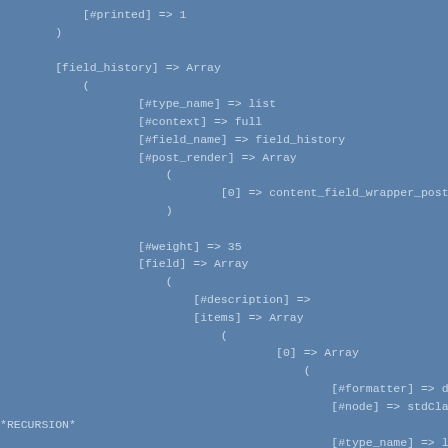[#printed] => 1
    )

[field_history] => Array
    (
            [#type_name] => list
            [#context] => full
            [#field_name] => field_history
            [#post_render] => Array
                (
                        [0] => content_field_wrapper_post
                )

            [#weight] => 35
            [field] => Array
                (
                    [#description] =>
                    [items] => Array
                        (
                                [0] => Array
                                    (
                                        [#formatter] => d
                                        [#node] => stdCla
*RECURSION*
                                        [#type_name] => l
                                        [#field_name] =>
                                        [#weight] => 0
                                        [#theme] => noder
                                        [#item] => Array
                                            (